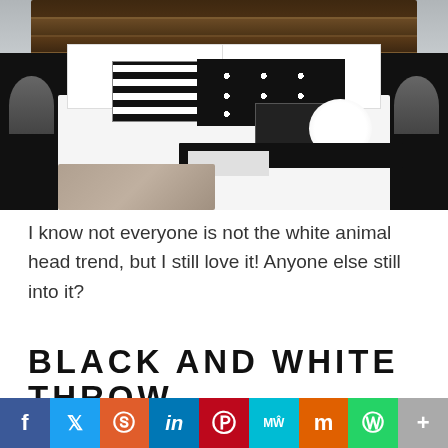[Figure (photo): Bedroom styled photo showing a black-framed bed with black and white striped and polka dot throw pillows, white bedding, dark wood plank headboard, wall lamps, and a white floral arrangement on the bedside. Watermark reads 'DESIGN, DINING AND DIAPERS'.]
I know not everyone is not the white animal head trend, but I still love it! Anyone else still into it?
BLACK AND WHITE THROW PILLOWS